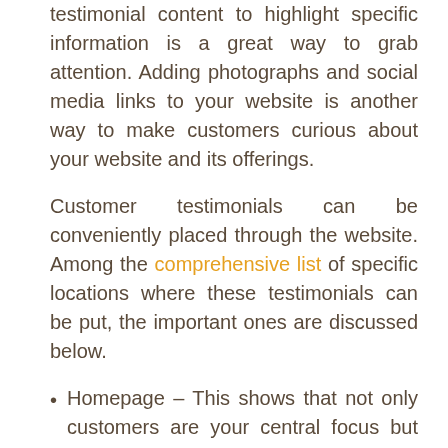testimonial content to highlight specific information is a great way to grab attention. Adding photographs and social media links to your website is another way to make customers curious about your website and its offerings.
Customer testimonials can be conveniently placed through the website. Among the comprehensive list of specific locations where these testimonials can be put, the important ones are discussed below.
Homepage – This shows that not only customers are your central focus but also